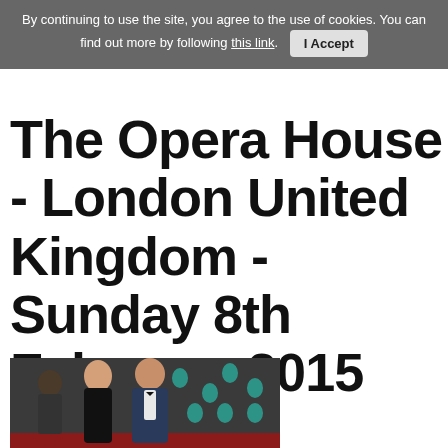By continuing to use the site, you agree to the use of cookies. You can find out more by following this link. I Accept
The Opera House - London United Kingdom - Sunday 8th February 2015
[Figure (photo): Two people posing on a red carpet at what appears to be a BAFTA event. A woman in a black strapless gown and a man in a dark tuxedo with bow tie stand in front of a step-and-repeat banner with teal BAFTA mask logos.]